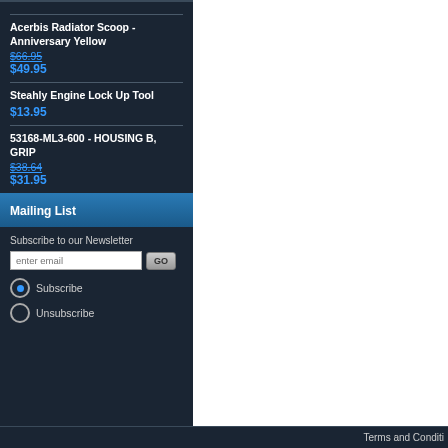Acerbis Radiator Scoop - Anniversary Yellow
$66.95
$49.95
Steahly Engine Lock Up Tool
$13.95
53168-ML3-600 - HOUSING B, GRIP
$38.64
$31.95
Mailing List
Subscribe to our Newsletter
Subscribe
Unsubscribe
Terms and Conditi